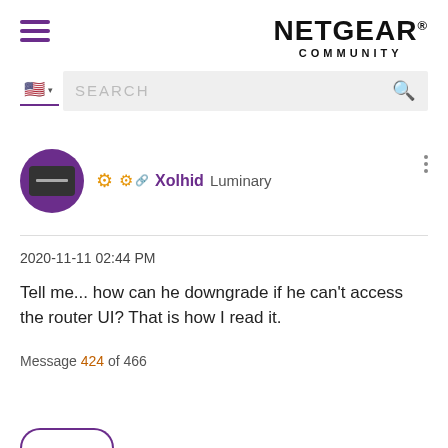NETGEAR COMMUNITY
Xolhid Luminary
2020-11-11 02:44 PM
Tell me... how can he downgrade if he can't access the router UI? That is how I read it.
Message 424 of 466